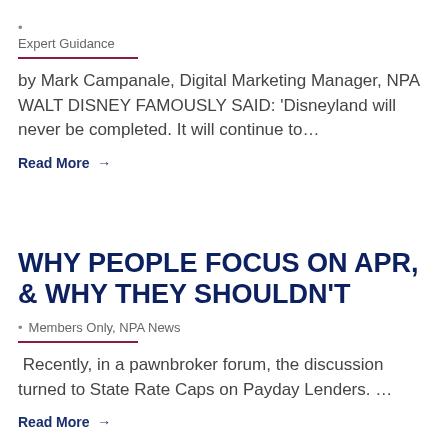Expert Guidance
by Mark Campanale, Digital Marketing Manager, NPA WALT DISNEY FAMOUSLY SAID: ‘Disneyland will never be completed. It will continue to…
Read More →
WHY PEOPLE FOCUS ON APR, & WHY THEY SHOULDN’T
Members Only, NPA News
Recently, in a pawnbroker forum, the discussion turned to State Rate Caps on Payday Lenders. …
Read More →